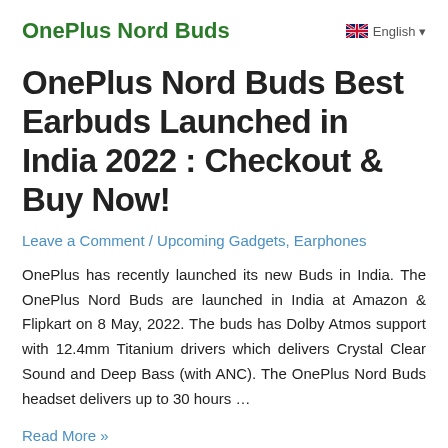OnePlus Nord Buds   English ▾
OnePlus Nord Buds Best Earbuds Launched in India 2022 : Checkout & Buy Now!
Leave a Comment / Upcoming Gadgets, Earphones
OnePlus has recently launched its new Buds in India. The OnePlus Nord Buds are launched in India at Amazon & Flipkart on 8 May, 2022. The buds has Dolby Atmos support with 12.4mm Titanium drivers which delivers Crystal Clear Sound and Deep Bass (with ANC). The OnePlus Nord Buds headset delivers up to 30 hours …
Read More »